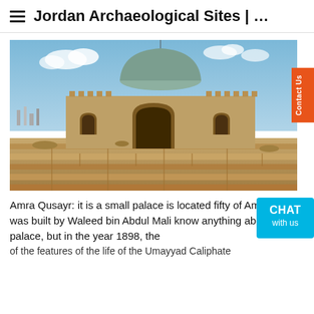Jordan Archaeological Sites | …
[Figure (photo): Exterior view of an ancient stone building with a large dome and arched entrance, ruins and stone walls in the foreground, blue sky with clouds in the background. Archaeological site in Jordan.]
Amra Qusayr: it is a small palace is located fifty [miles east] of Amman, was built by Waleed bin Abdul Mali[k...] know anything about the palace, but in the year 1898, the [photos of the features of the life of the Umayyad Caliphate...]